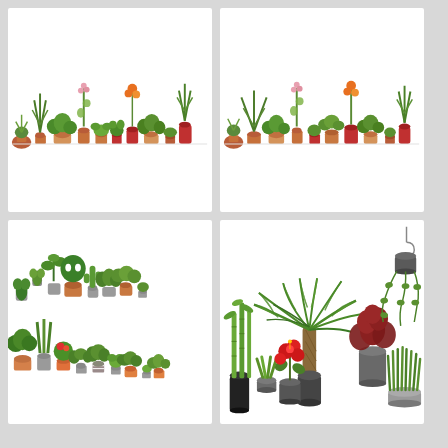[Figure (illustration): A row of various potted houseplants including succulents, tall spiky plants, flowering plants, and green foliage arranged in a horizontal line against a white background. Pots are terracotta and red colored.]
[Figure (illustration): A row of various potted houseplants similar to the first panel, including tall fan-shaped plants, spiky plants, flowering plants, arranged in a horizontal line against a white background. Pots are terracotta and red colored.]
[Figure (illustration): A large collection of various flat-style illustrated potted houseplants including monstera, snake plants, cactus, ferns, flowering plants arranged in multiple rows against a white background. Pots are gray, orange, and terracotta colored.]
[Figure (illustration): Several large realistic potted houseplants including a tall fan palm in a dark gray pot, a dark red leafy plant in a gray bucket pot, a hanging vine plant on a hook, tall bamboo stalks in a dark vase, a red hibiscus flowering plant in a dark pot, and green grass-like plant in a gray tray, all against a white background.]